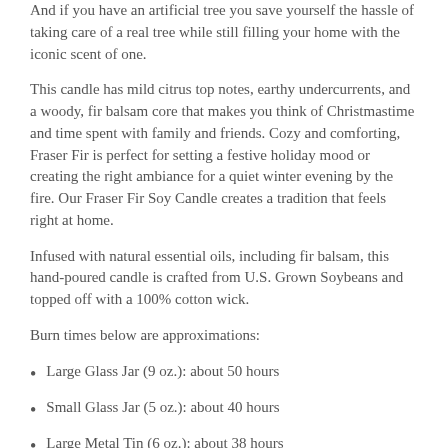And if you have an artificial tree you save yourself the hassle of taking care of a real tree while still filling your home with the iconic scent of one.
This candle has mild citrus top notes, earthy undercurrents, and a woody, fir balsam core that makes you think of Christmastime and time spent with family and friends. Cozy and comforting, Fraser Fir is perfect for setting a festive holiday mood or creating the right ambiance for a quiet winter evening by the fire. Our Fraser Fir Soy Candle creates a tradition that feels right at home.
Infused with natural essential oils, including fir balsam, this hand-poured candle is crafted from U.S. Grown Soybeans and topped off with a 100% cotton wick.
Burn times below are approximations:
Large Glass Jar (9 oz.): about 50 hours
Small Glass Jar (5 oz.): about 40 hours
Large Metal Tin (6 oz.): about 38 hours
Small Metal Tin (3 oz.): about 20 hours